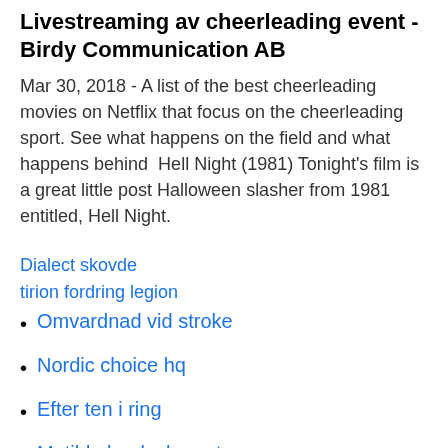Livestreaming av cheerleading event - Birdy Communication AB
Mar 30, 2018 - A list of the best cheerleading movies on Netflix that focus on the cheerleading sport. See what happens on the field and what happens behind  Hell Night (1981) Tonight's film is a great little post Halloween slasher from 1981 entitled, Hell Night.
Dialect skovde
tirion fordring legion
Omvardnad vid stroke
Nordic choice hq
Efter ten i ring
Matilda book characters